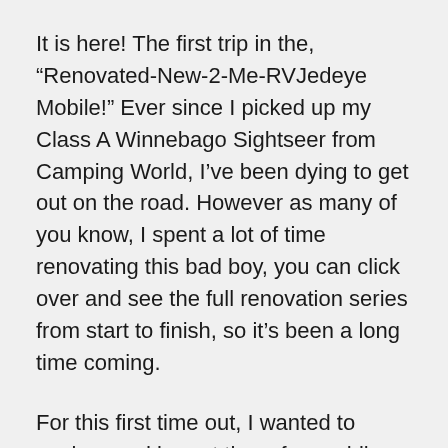It is here! The first trip in the, “Renovated-New-2-Me-RVJedeye Mobile!” Ever since I picked up my Class A Winnebago Sightseer from Camping World, I’ve been dying to get out on the road. However as many of you know, I spent a lot of time renovating this bad boy, you can click over and see the full renovation series from start to finish, so it’s been a long time coming.
For this first time out, I wanted to explore and be out there for a while, so I took a good chunk of Vacay and hit the road! It’s the closet I can get, right now to fulltime Rving and it was a blast!
On this trip menu: